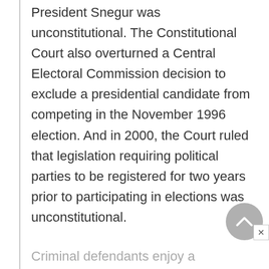President Snegur was unconstitutional. The Constitutional Court also overturned a Central Electoral Commission decision to exclude a presidential candidate from competing in the November 1996 election. And in 2000, the Court ruled that legislation requiring political parties to be registered for two years prior to participating in elections was unconstitutional.
Criminal defendants enjoy a